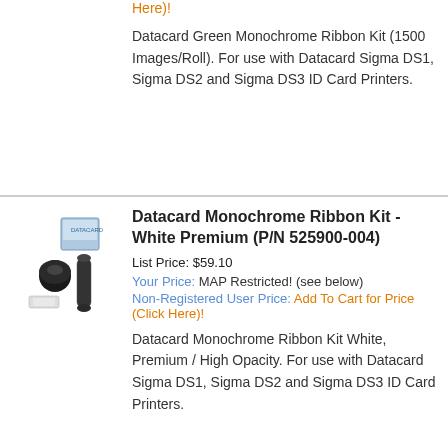Add To Cart for Price (Click Here)!
Datacard Green Monochrome Ribbon Kit (1500 Images/Roll). For use with Datacard Sigma DS1, Sigma DS2 and Sigma DS3 ID Card Printers.
Datacard Monochrome Ribbon Kit - White Premium (P/N 525900-004)
List Price: $59.10
Your Price: MAP Restricted! (see below)
Non-Registered User Price: Add To Cart for Price (Click Here)!
Datacard Monochrome Ribbon Kit White, Premium / High Opacity. For use with Datacard Sigma DS1, Sigma DS2 and Sigma DS3 ID Card Printers.